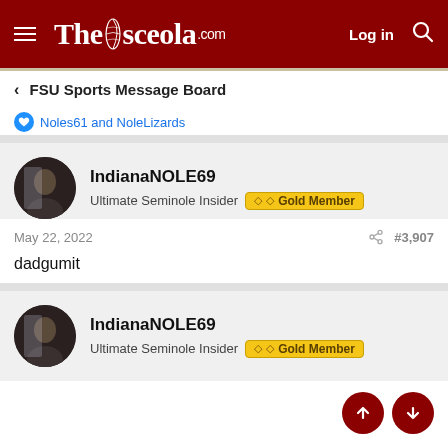TheOsceola.com — Log in
< FSU Sports Message Board
Noles61 and NoleLizards
IndianaNOLE69
Ultimate Seminole Insider  Gold Member
May 22, 2022  #3,907
dadgumit
IndianaNOLE69
Ultimate Seminole Insider  Gold Member